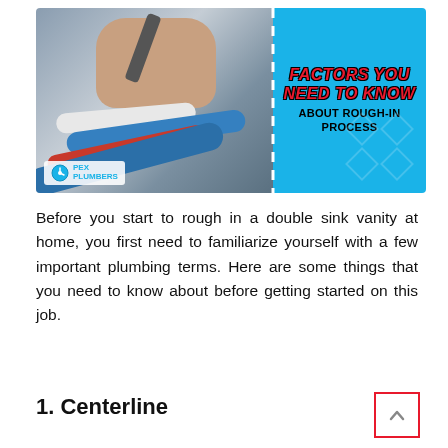[Figure (infographic): Infographic banner split into two halves: left side shows a photo of a plumber working with PEX pipes with PEX Plumbers logo; right side has cyan/blue background with text 'FACTORS YOU NEED TO KNOW ABOUT ROUGH-IN PROCESS' in red and black bold lettering with dashed vertical divider.]
Before you start to rough in a double sink vanity at home, you first need to familiarize yourself with a few important plumbing terms. Here are some things that you need to know about before getting started on this job.
1. Centerline